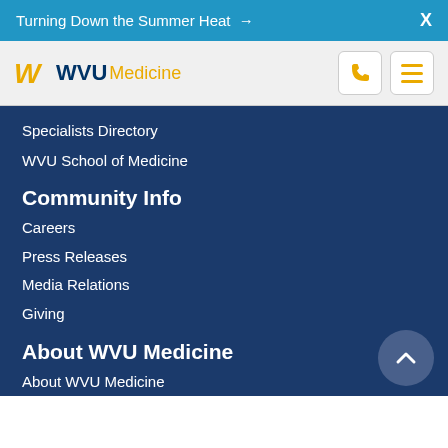Turning Down the Summer Heat →   X
[Figure (logo): WVU Medicine logo with gold W and blue WVU text and gold Medicine wordmark]
Specialists Directory
WVU School of Medicine
Community Info
Careers
Press Releases
Media Relations
Giving
About WVU Medicine
About WVU Medicine
Mission, Leadership & More
Rights, Privacy & Non-discrimination
Disclaimer
Contact Us
Employee Portal
WVU Medicine Home